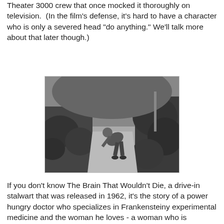Theater 3000 crew that once mocked it thoroughly on television.  (In the film's defense, it's hard to have a character who is only a severed head "do anything." We'll talk more about that later though.)
[Figure (photo): Black and white film still showing a man bending forward on a path between hedges and bushes, appears to be from a 1960s movie.]
If you don't know The Brain That Wouldn't Die, a drive-in stalwart that was released in 1962, it's the story of a power hungry doctor who specializes in Frankensteiny experimental medicine and the woman he loves - a woman who is beheaded in an automobile accident while he is driving erratically due to his lust to get to his science. Fortunately - or unfortunately, depending on who you listen to - that same science allows our narcissistic doctor to keep that head alive, living in a few clamps and a tray of serum (or, as the MST3K guys called it, "neck juice"), while he searches for a body